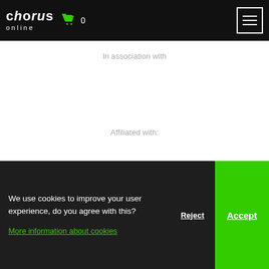chorus online | cart 0 | menu
In association with
Affiliated with:
We use cookies to improve your user experience, do you agree with this?
More information about cookies
Reject
Accept